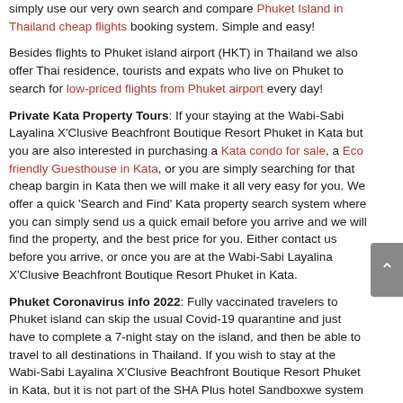simply use our very own search and compare Phuket Island in Thailand cheap flights booking system. Simple and easy!
Besides flights to Phuket island airport (HKT) in Thailand we also offer Thai residence, tourists and expats who live on Phuket to search for low-priced flights from Phuket airport every day!
Private Kata Property Tours: If your staying at the Wabi-Sabi Layalina X'Clusive Beachfront Boutique Resort Phuket in Kata but you are also interested in purchasing a Kata condo for sale, a Eco friendly Guesthouse in Kata, or you are simply searching for that cheap bargin in Kata then we will make it all very easy for you. We offer a quick 'Search and Find' Kata property search system where you can simply send us a quick email before you arrive and we will find the property, and the best price for you. Either contact us before you arrive, or once you are at the Wabi-Sabi Layalina X'Clusive Beachfront Boutique Resort Phuket in Kata.
Phuket Coronavirus info 2022: Fully vaccinated travelers to Phuket island can skip the usual Covid-19 quarantine and just have to complete a 7-night stay on the island, and then be able to travel to all destinations in Thailand. If you wish to stay at the Wabi-Sabi Layalina X'Clusive Beachfront Boutique Resort Phuket in Kata, but it is not part of the SHA Plus hotel Sandboxwe system you can click on the banner below to find all SHA Hotels in Kata, and on Phuket. For full updated details concerning Covid-19 please go to our Kata Phuket Coronavirus update page.